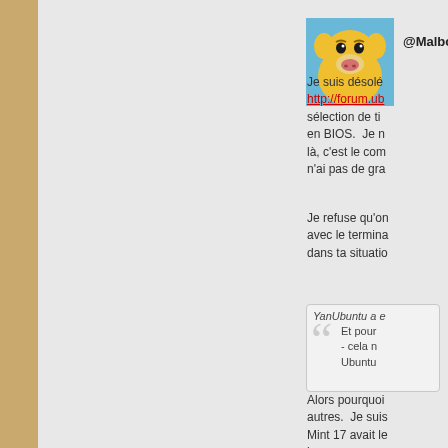@Malbo
Je suis désolé http://forum.ub sélection de ti en BIOS. Je n là, c'est le com n'ai pas de gra
Je refuse qu'on avec le termina dans ta situatio
YanUbuntu a e
Et pour
- cela n
Ubuntu
Alors pourquoi autres. Je suis Mint 17 avait le heures couron